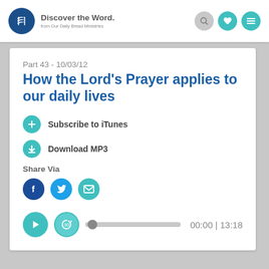Discover the Word. from Our Daily Bread Ministries
Part 43 - 10/03/12
How the Lord’s Prayer applies to our daily lives
Subscribe to iTunes
Download MP3
Share Via
[Figure (infographic): Audio player with play button, 30-second replay button, progress bar, and time display showing 00:00 | 13:18]